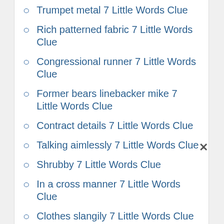Trumpet metal 7 Little Words Clue
Rich patterned fabric 7 Little Words Clue
Congressional runner 7 Little Words Clue
Former bears linebacker mike 7 Little Words Clue
Contract details 7 Little Words Clue
Talking aimlessly 7 Little Words Clue
Shrubby 7 Little Words Clue
In a cross manner 7 Little Words Clue
Clothes slangily 7 Little Words Clue